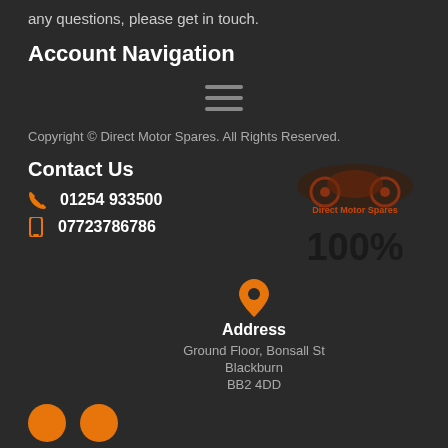any questions, please get in touch.
Account Navigation
[Figure (other): Hamburger menu icon (three horizontal lines)]
Copyright © Direct Motor Spares. All Rights Reserved.
Contact Us
01254 933500
07723786786
[Figure (logo): Direct Motor Spares logo with motorcycle image]
100%
[Figure (other): Orange map pin / location icon]
Address
Ground Floor, Bonsall St
Blackburn
BB2 4DD
[Figure (other): Two orange circular social media icons at bottom]